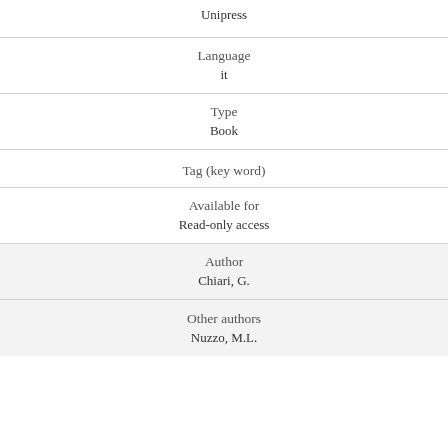Unipress
Language
it
Type
Book
Tag (key word)
Available for
Read-only access
Author
Chiari, G.
Other authors
Nuzzo, M.L.